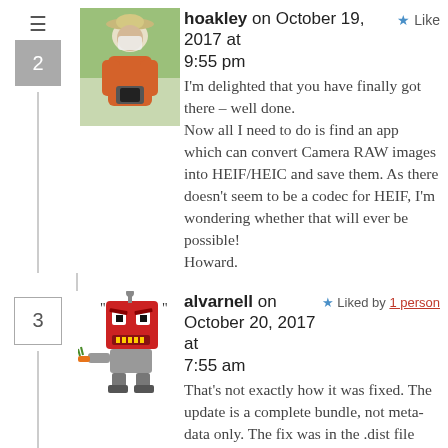hoakley on October 19, 2017 at 9:55 pm — Like
I'm delighted that you have finally got there – well done.
Now all I need to do is find an app which can convert Camera RAW images into HEIF/HEIC and save them. As there doesn't seem to be a codec for HEIF, I'm wondering whether that will ever be possible!
Howard.
[Figure (photo): Avatar photo of commenter hoakley showing a person in an orange jacket and hat outdoors]
alvarnell on October 20, 2017 at 7:55 am — Liked by 1 person
That's not exactly how it was fixed. The update is a complete bundle, not meta-data only. The fix was in the .dist file which leaves out the receipt check and
[Figure (illustration): Pixel art avatar of alvarnell showing an angry red robot/monster character with a carrot]